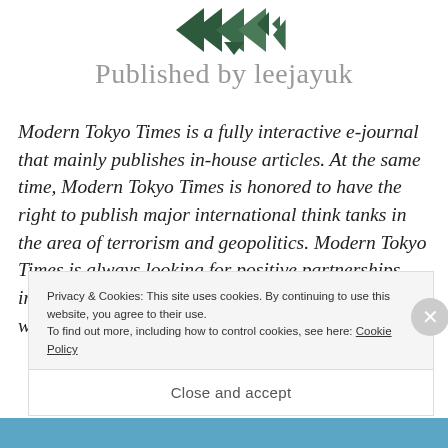[Figure (logo): Dark green triangular geometric logo mark made of arrow/triangle shapes pointing left]
Published by leejayuk
Modern Tokyo Times is a fully interactive e-journal that mainly publishes in-house articles. At the same time, Modern Tokyo Times is honored to have the right to publish major international think tanks in the area of terrorism and geopolitics. Modern Tokyo Times is always looking for positive partnerships, investment, independent writers that can fit neatly within our target area – and
Privacy & Cookies: This site uses cookies. By continuing to use this website, you agree to their use.
To find out more, including how to control cookies, see here: Cookie Policy
Close and accept